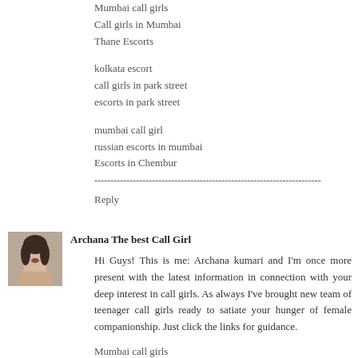Mumbai call girls
Call girls in Mumbai
Thane Escorts
kolkata escort
call girls in park street
escorts in park street
mumbai call girl
russian escorts in mumbai
Escorts in Chembur
-----------------------------------------------------------------------
Reply
[Figure (photo): Avatar photo of a woman, profile picture for Archana The best Call Girl commenter]
Archana The best Call Girl
Hi Guys! This is me: Archana kumari and I'm once more present with the latest information in connection with your deep interest in call girls. As always I've brought new team of teenager call girls ready to satiate your hunger of female companionship. Just click the links for guidance.
Mumbai call girls
Call girls in Mumbai
Thane Escorts